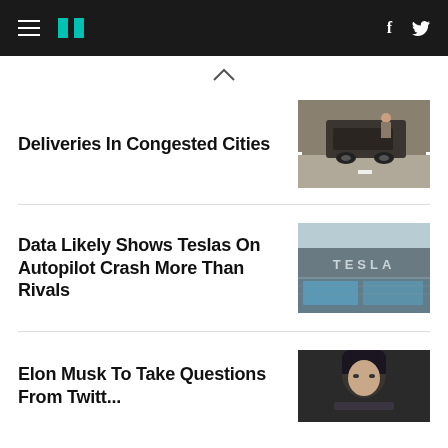HuffPost — navigation header with hamburger menu, logo, Facebook and Twitter icons
Deliveries In Congested Cities
[Figure (photo): Photo of a delivery vehicle on a road, top-down or side view]
Data Likely Shows Teslas On Autopilot Crash More Than Rivals
[Figure (photo): Photo of a Tesla building sign on a grey building with blue glass]
Elon Musk To Take Questions From Twitt...